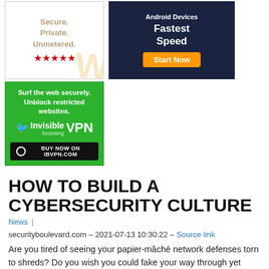[Figure (illustration): Advertisement: Secure. Private. Unmetered. with five red stars and a stylized W logo watermark]
[Figure (illustration): Advertisement for Android Devices with Fastest Speed and Start Now orange button on dark blue background]
[Figure (illustration): Advertisement: Surf the web securely. Unblock restricted websites. Invisible browsing VPN. Buy Now on IBVPN.COM on green background]
HOW TO BUILD A CYBERSECURITY CULTURE
News |
securityboulevard.com – 2021-07-13 10:30:22 – Source link
Are you tired of seeing your papier-mâché network defenses torn to shreds? Do you wish you could fake your way through yet another audit, but fear being exposed by a data leak? Are